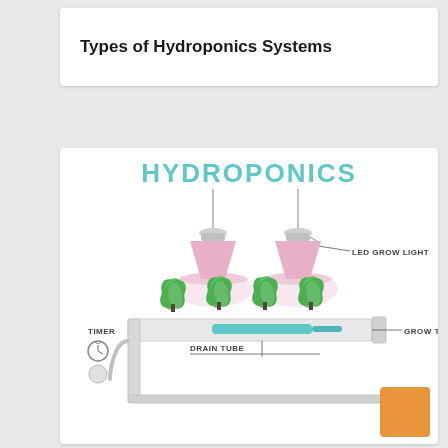Types of Hydroponics Systems
[Figure (infographic): A hydroponics system infographic showing LED grow lights hanging above green plants in a grow tray, with a drain tube, timer, and grow tray labels. Title reads HYDROPONICS in teal letters.]